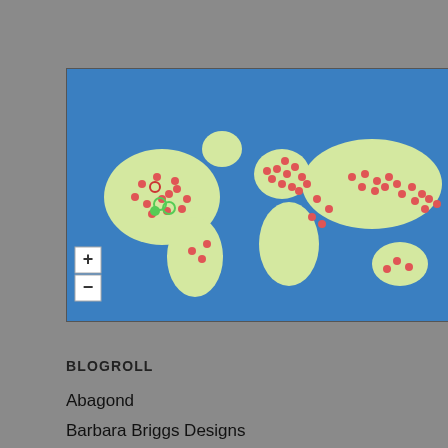[Figure (map): World map showing 2,789 Pageviews from Jul 30th – Aug 30th, with red dots clustered heavily in North America, Europe, and scattered across Asia/Australia. Green dots appear near eastern North America. Map has blue ocean background and light yellow-green landmasses. Zoom +/- controls on lower left.]
BLOGROLL
Abagond
Barbara Briggs Designs
Brian David Dennis
Craft Now Philadelphia
Discovering Art on the Streets of Philadelphia
Fleisher Art Memorial